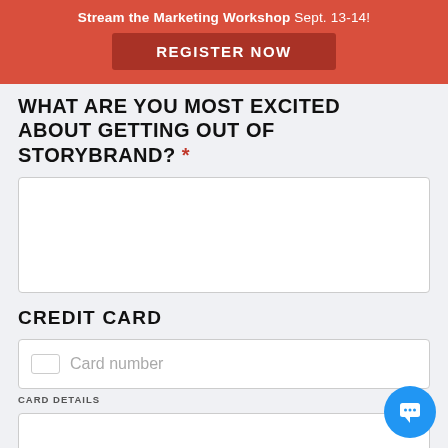Stream the Marketing Workshop Sept. 13-14! Register Now
WHAT ARE YOU MOST EXCITED ABOUT GETTING OUT OF STORYBRAND? *
[Figure (other): Empty textarea input box for user response]
CREDIT CARD
[Figure (other): Credit card number input field with card icon and placeholder text 'Card number']
CARD DETAILS
[Figure (other): Partial input box at bottom of page for card details]